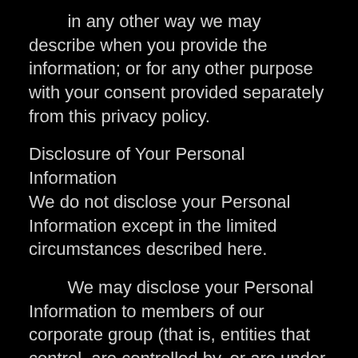in any other way we may describe when you provide the information; or for any other purpose with your consent provided separately from this privacy policy.
Disclosure of Your Personal Information
We do not disclose your Personal Information except in the limited circumstances described here.
We may disclose your Personal Information to members of our corporate group (that is, entities that control, are controlled by, or are under common control with us) to the extent this is necessary for the purposes of provision of services, customer management, customization of content, advertising, analytics, verifications, functionality and security, and compliance.
Service providers. To our authorized service providers that perform certain services on our behalf. These services may include fulfilling orders, processing credit